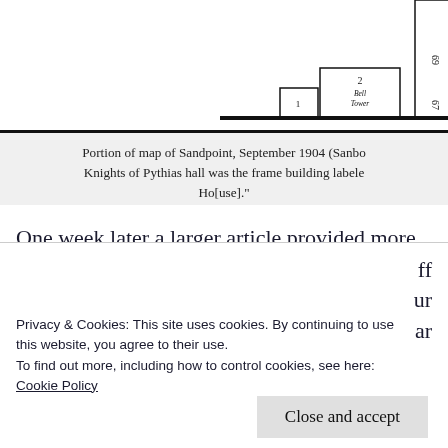[Figure (map): Portion of a Sanborn fire insurance map showing building outlines with numbered labels. A frame building labeled '2' with 'Bell Tower' notation is visible, along with adjacent lot numbers 69 and 67 on the right side.]
Portion of map of Sandpoint, September 1904 (Sanbo... Knights of Pythias hall was the frame building labele... Ho[use]."
One week later a larger article provided more info... event. The 16 women in the Old Maids’ Associatio... 24, hoped to correspond with eligible bachelors a... ages of 16 and 90 with a view to matrimony.” They “exceptionally handsome women” and were perpl...
Privacy & Cookies: This site uses cookies. By continuing to use this website, you agree to their use.
To find out more, including how to control cookies, see here:
Cookie Policy
Close and accept